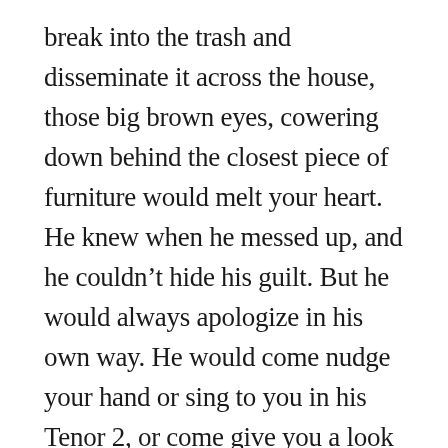break into the trash and disseminate it across the house, those big brown eyes, cowering down behind the closest piece of furniture would melt your heart. He knew when he messed up, and he couldn't hide his guilt. But he would always apologize in his own way. He would come nudge your hand or sing to you in his Tenor 2, or come give you a look asking permission to hop up on your lap. He would never let you go to bed mad, and would attempt to reconcile beforehand if you were about to leave the house. Even if he caught a swat from his nefarious actions, he wouldn't change his tune toward you. He was relentless in this regard. He might shy out of the room for a